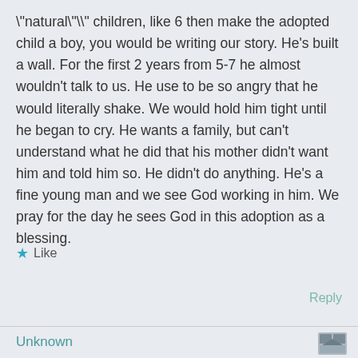"natural"\" children, like 6 then make the adopted child a boy, you would be writing our story. He's built a wall. For the first 2 years from 5-7 he almost wouldn't talk to us. He use to be so angry that he would literally shake. We would hold him tight until he began to cry. He wants a family, but can't understand what he did that his mother didn't want him and told him so. He didn't do anything. He's a fine young man and we see God working in him. We pray for the day he sees God in this adoption as a blessing.
★ Like
Reply
Unknown